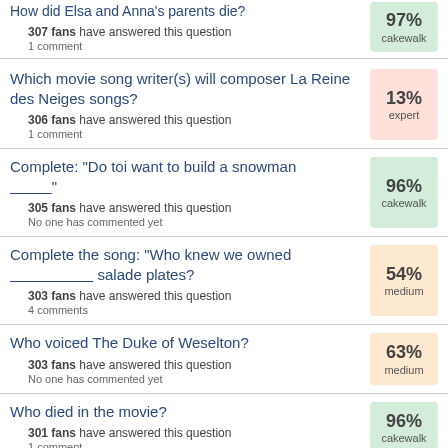How did Elsa and Anna's parents die? — 307 fans have answered this question — 1 comment — 97% cakewalk
Which movie song writer(s) will composer La Reine des Neiges songs? — 306 fans have answered this question — 1 comment — 13% expert
Complete: "Do toi want to build a snowman _________" — 305 fans have answered this question — No one has commented yet — 96% cakewalk
Complete the song: "Who knew we owned _________________ salade plates? — 303 fans have answered this question — 4 comments — 54% medium
Who voiced The Duke of Weselton? — 303 fans have answered this question — No one has commented yet — 63% medium
Who died in the movie? — 301 fans have answered this question — 1 comment — 96% cakewalk